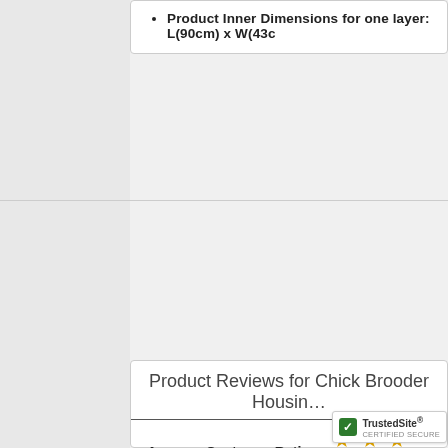Product Inner Dimensions for one layer: L(90cm) x W(43c...
Product Reviews for Chick Brooder Housin...
Average Customer Rating: ★★★★★
★★★★★  Good capacity
Reviewer: Phil lester
I put all 200 of my chicks into this system and had no issues. The he... I will be buying another one when my farm gets a li...